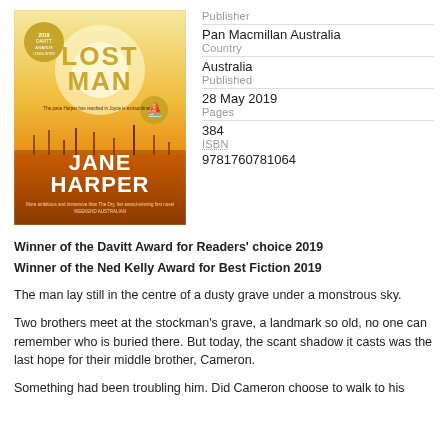[Figure (illustration): Book cover of 'The Lost Man' by Jane Harper, published by Pan Macmillan Australia. Features a golden/orange desert landscape with large bold text reading 'LOST MAN' at the top and 'JANE HARPER' in large white letters at bottom. Includes a Davitt Award sticker and ship logo.]
Publisher
Pan Macmillan Australia
Country
Australia
Published
28 May 2019
Pages
384
ISBN
9781760781064
Winner of the Davitt Award for Readers' choice 2019
Winner of the Ned Kelly Award for Best Fiction 2019
The man lay still in the centre of a dusty grave under a monstrous sky.
Two brothers meet at the stockman's grave, a landmark so old, no one can remember who is buried there. But today, the scant shadow it casts was the last hope for their middle brother, Cameron.
Something had been troubling him. Did Cameron choose to walk to his